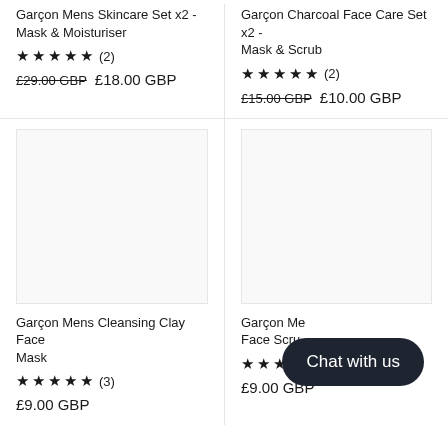Garçon Mens Skincare Set x2 - Mask & Moisturiser
★★★★★ (2)
£29.00 GBP £18.00 GBP
Garçon Charcoal Face Care Set x2 - Mask & Scrub
★★★★½ (2)
£15.00 GBP £10.00 GBP
[Figure (photo): White/blank product image placeholder for Garçon Mens Cleansing Clay Face Mask]
Garçon Mens Cleansing Clay Face Mask
★★★★★ (3)
£9.00 GBP
[Figure (photo): White/blank product image placeholder for Garçon Mens ... Face Scrub]
Garçon Mens ... Face Scrub
★★★ (2)
£9.00 GBP
Chat with us